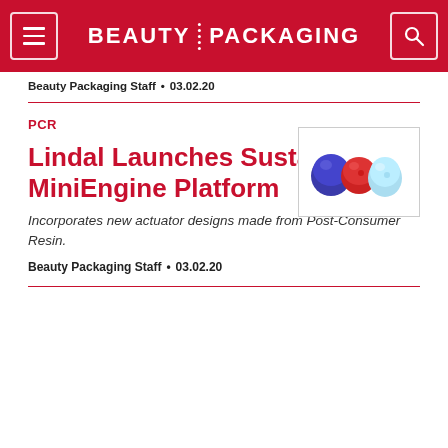BEAUTY PACKAGING
Beauty Packaging Staff • 03.02.20
PCR
[Figure (photo): Three small rounded cosmetic actuator caps in blue, red, and light blue colors displayed on white background]
Lindal Launches Sustainable MiniEngine Platform
Incorporates new actuator designs made from Post-Consumer Resin.
Beauty Packaging Staff • 03.02.20